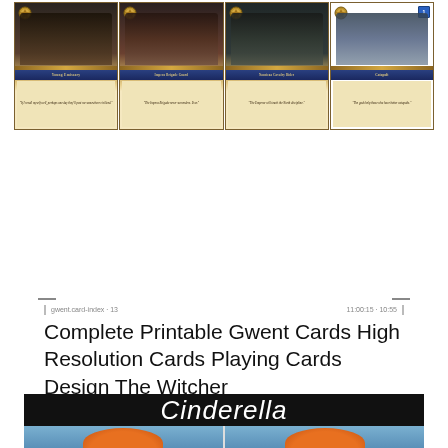[Figure (illustration): Four Gwent playing cards displayed side by side: Young Emissary, Impera Brigade Guard, Nausicaa Cavalry Rider, and Catapult. Each card shows dark fantasy artwork with a character or siege weapon, a golden card frame, faction emblem, power number, and an italic flavor quote at the bottom.]
gwent.card-index · 13
11:00:15 - 10:55
Complete Printable Gwent Cards High Resolution Cards Playing Cards Design The Witcher
[Figure (illustration): Bottom portion of a Cinderella-themed image. A black banner at the top displays the word 'Cinderella' in white cursive/italic font. Below is a light blue section showing the top of animated character heads.]